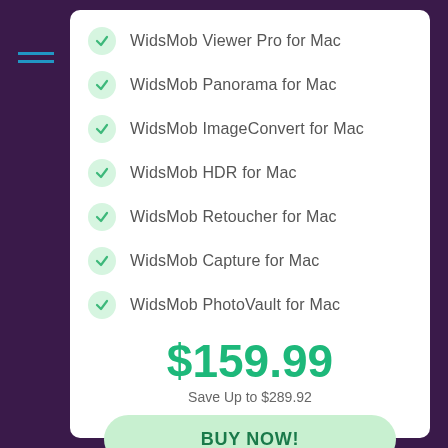WidsMob Viewer Pro for Mac
WidsMob Panorama for Mac
WidsMob ImageConvert for Mac
WidsMob HDR for Mac
WidsMob Retoucher for Mac
WidsMob Capture for Mac
WidsMob PhotoVault for Mac
$159.99
Save Up to $289.92
BUY NOW!